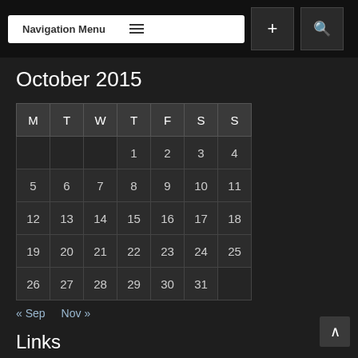Navigation Menu
October 2015
| M | T | W | T | F | S | S |
| --- | --- | --- | --- | --- | --- | --- |
|  |  |  | 1 | 2 | 3 | 4 |
| 5 | 6 | 7 | 8 | 9 | 10 | 11 |
| 12 | 13 | 14 | 15 | 16 | 17 | 18 |
| 19 | 20 | 21 | 22 | 23 | 24 | 25 |
| 26 | 27 | 28 | 29 | 30 | 31 |  |
« Sep   Nov »
Links
Antigua Sun
Barbados Nation